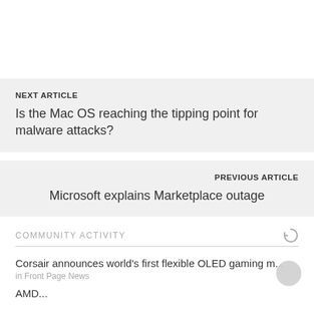NEXT ARTICLE
Is the Mac OS reaching the tipping point for malware attacks?
PREVIOUS ARTICLE
Microsoft explains Marketplace outage
COMMUNITY ACTIVITY
Corsair announces world's first flexible OLED gaming m...
in Front Page News
AMD...